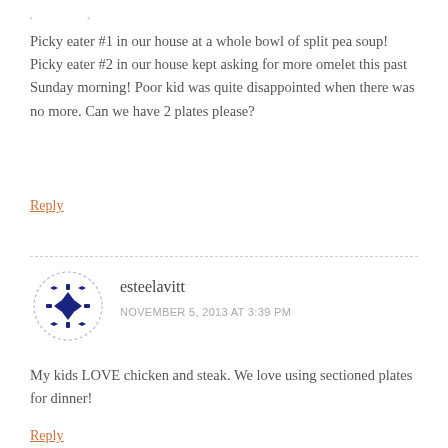[Figure (illustration): Partial circular avatar with dashed border, partially visible at top of page]
Picky eater #1 in our house at a whole bowl of split pea soup! Picky eater #2 in our house kept asking for more omelet this past Sunday morning! Poor kid was quite disappointed when there was no more. Can we have 2 plates please?
Reply
[Figure (illustration): Circular avatar with dashed border containing a blue geometric snowflake/mandala pattern for user esteelavitt]
esteelavitt
NOVEMBER 5, 2013 AT 3:39 PM
My kids LOVE chicken and steak. We love using sectioned plates for dinner!
Reply